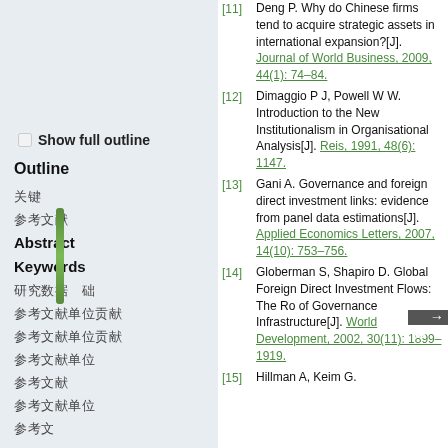Show full outline
Outline
关键
参考文献
Abstract
Keywords
研究数据
参考文献单位贡献
参考文献单位贡献
参考文献单位
参考文献
参考文献单位
参考文
[11] Deng P. Why do Chinese firms tend to acquire strategic assets in international expansion?[J]. Journal of World Business, 2009, 44(1): 74–84.
[12] Dimaggio P J, Powell W W. Introduction to the New Institutionalism in Organisational Analysis[J]. Reis, 1991, 48(6): 1147.
[13] Gani A. Governance and foreign direct investment links: evidence from panel data estimations[J]. Applied Economics Letters, 2007, 14(10): 753–756.
[14] Globerman S, Shapiro D. Global Foreign Direct Investment Flows: The Role of Governance Infrastructure[J]. World Development, 2002, 30(11): 1899–1919.
[15] Hillman A, Keim G.